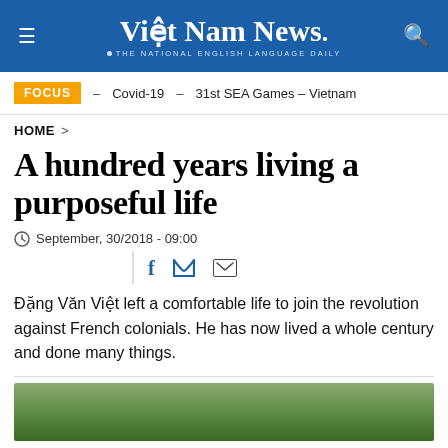Việt Nam News. THE NATIONAL ENGLISH LANGUAGE DAILY
FOCUS – Covid-19 – 31st SEA Games – Vietnam
HOME >
A hundred years living a purposeful life
September, 30/2018 - 09:00
[social share icons: Facebook, Twitter, Email]
Đặng Văn Việt left a comfortable life to join the revolution against French colonials. He has now lived a whole century and done many things.
[Figure (photo): Partial photo at the bottom of the page, appears to be a portrait photograph]